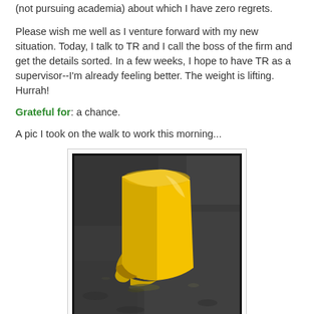(not pursuing academia) about which I have zero regrets.
Please wish me well as I venture forward with my new situation. Today, I talk to TR and I call the boss of the firm and get the details sorted. In a few weeks, I hope to have TR as a supervisor--I'm already feeling better. The weight is lifting. Hurrah!
Grateful for: a chance.
A pic I took on the walk to work this morning...
[Figure (photo): A crushed or damaged yellow plastic bucket lying on dark asphalt pavement.]